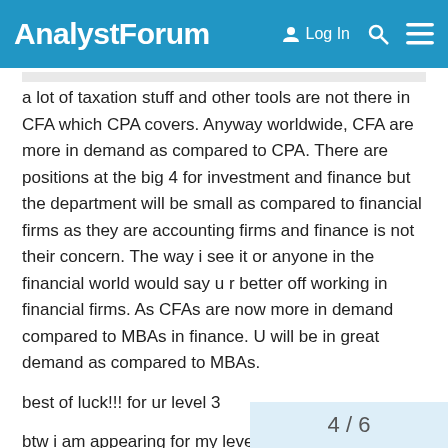AnalystForum — Log In
a lot of taxation stuff and other tools are not there in CFA which CPA covers. Anyway worldwide, CFA are more in demand as compared to CPA. There are positions at the big 4 for investment and finance but the department will be small as compared to financial firms as they are accounting firms and finance is not their concern. The way i see it or anyone in the financial world would say u r better off working in financial firms. As CFAs are now more in demand compared to MBAs in finance. U will be in great demand as compared to MBAs.
best of luck!!! for ur level 3
btw i am appearing for my level 1 this june, any advice from your side would be deeply appreciated
cya
4 / 6